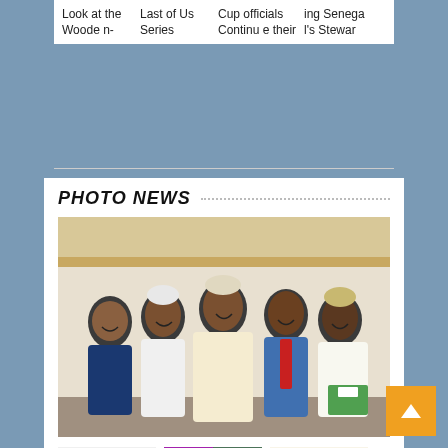Look at the Wooden- | Last of Us Series | Cup officials Continue their | ing Senegal's Stewar
PHOTO NEWS
[Figure (photo): Group photo of five men in formal attire standing together indoors. The men are wearing a mix of traditional Nigerian attire (agbada, kaftan) and Western suits. The setting appears to be an office or conference room.]
[Figure (photo): Small thumbnail photo showing a panel discussion with multiple people seated at a table.]
[Figure (photo): Small thumbnail photo showing people at what appears to be an event or gathering with colorful lighting.]
[Figure (photo): Small thumbnail showing a COTTONFEST event banner/logo with a building in the background.]